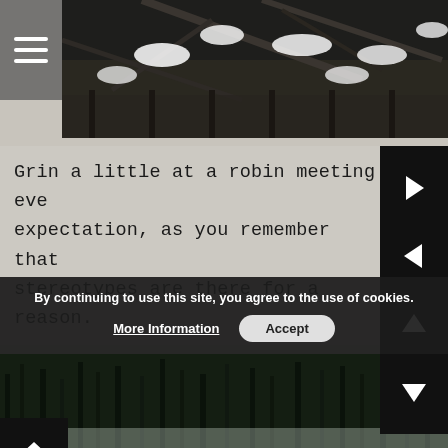[Figure (photo): Snow-covered tree branches against dark background, top portion of page]
Grin a little at a robin meeting eve expectation, as you remember that stereotypes are there for a reason.
[Figure (photo): Winter landscape with snow-covered hills and pale blue sky]
By continuing to use this site, you agree to the use of cookies.
More Information   Accept
[Figure (photo): Dark winter scene with snow-covered trees at bottom of page]